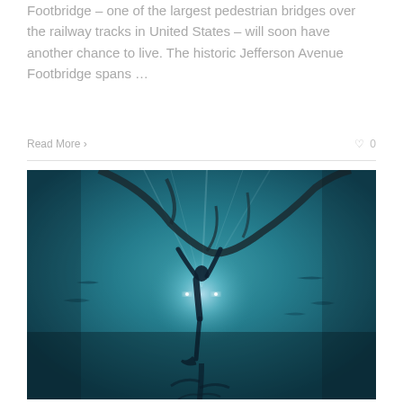Footbridge – one of the largest pedestrian bridges over the railway tracks in United States – will soon have another chance to live. The historic Jefferson Avenue Footbridge spans ...
Read More  0
[Figure (photo): Underwater photograph of a diver silhouetted against light, holding onto a submerged tree branch, surrounded by teal-blue water with fish visible in the background.]